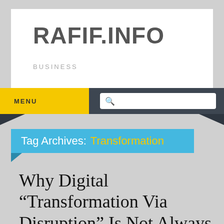RAFIF.INFO
BUSINESS
MENU
Tag Archives: Transformation
Why Digital “Transformation Via Disruption” Is Not Always a Good Idea